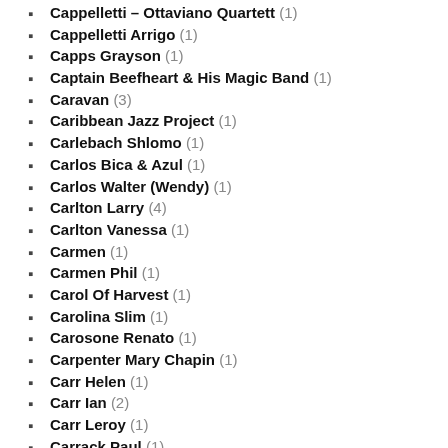Cappelletti – Ottaviano Quartett (1)
Cappelletti Arrigo (1)
Capps Grayson (1)
Captain Beefheart & His Magic Band (1)
Caravan (3)
Caribbean Jazz Project (1)
Carlebach Shlomo (1)
Carlos Bica & Azul (1)
Carlos Walter (Wendy) (1)
Carlton Larry (4)
Carlton Vanessa (1)
Carmen (1)
Carmen Phil (1)
Carol Of Harvest (1)
Carolina Slim (1)
Carosone Renato (1)
Carpenter Mary Chapin (1)
Carr Helen (1)
Carr Ian (2)
Carr Leroy (1)
Carrack Paul (1)
Carreras José (1)